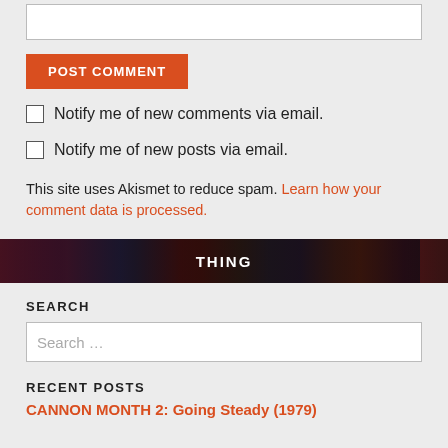[Figure (other): Empty text input box at the top of the page]
POST COMMENT
Notify me of new comments via email.
Notify me of new posts via email.
This site uses Akismet to reduce spam. Learn how your comment data is processed.
[Figure (photo): A horizontal banner strip showing a collage of dark movie poster images with the word THING visible in the center]
SEARCH
Search …
RECENT POSTS
CANNON MONTH 2: Going Steady (1979)